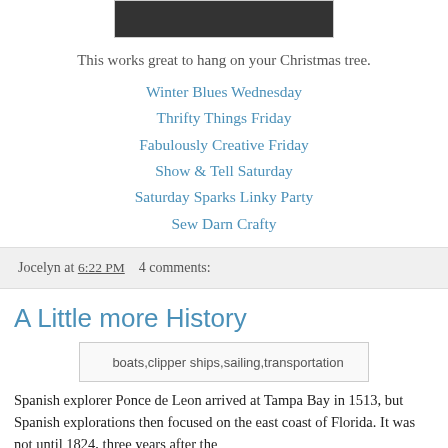[Figure (photo): Partial image at top, dark background with lights, appears to be a Christmas-themed photo]
This works great to hang on your Christmas tree.
Winter Blues Wednesday
Thrifty Things Friday
Fabulously Creative Friday
Show & Tell Saturday
Saturday Sparks Linky Party
Sew Darn Crafty
Jocelyn at 6:22 PM    4 comments:
A Little more History
[Figure (photo): Image placeholder: boats,clipper ships,sailing,transportation]
Spanish explorer Ponce de Leon arrived at Tampa Bay in 1513, but Spanish explorations then focused on the east coast of Florida. It was not until 1824, three years after the